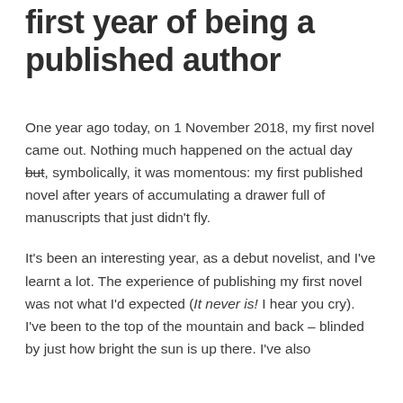first year of being a published author
One year ago today, on 1 November 2018, my first novel came out. Nothing much happened on the actual day but, symbolically, it was momentous: my first published novel after years of accumulating a drawer full of manuscripts that just didn't fly.
It's been an interesting year, as a debut novelist, and I've learnt a lot. The experience of publishing my first novel was not what I'd expected (It never is! I hear you cry). I've been to the top of the mountain and back – blinded by just how bright the sun is up there. I've also